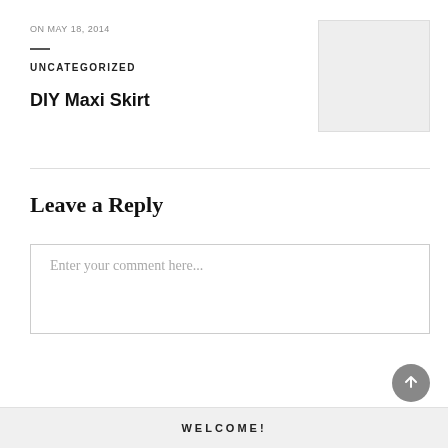ON MAY 18, 2014
UNCATEGORIZED
DIY Maxi Skirt
[Figure (photo): Light gray placeholder thumbnail image in top right area]
Leave a Reply
Enter your comment here...
WELCOME!